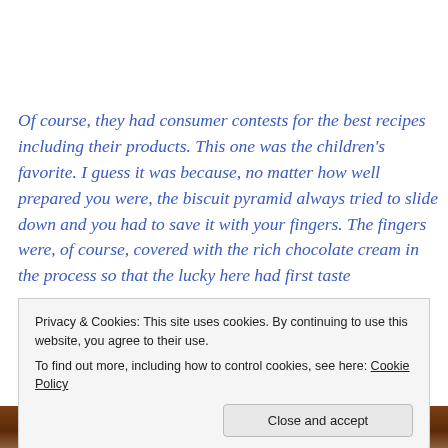Of course, they had consumer contests for the best recipes including their products. This one was the children's favorite. I guess it was because, no matter how well prepared you were, the biscuit pyramid always tried to slide down and you had to save it with your fingers. The fingers were, of course, covered with the rich chocolate cream in the process so that the lucky here had first taste...
Privacy & Cookies: This site uses cookies. By continuing to use this website, you agree to their use.
To find out more, including how to control cookies, see here: Cookie Policy
Close and accept
[Figure (photo): Bottom strip showing a partial photo of chocolate-covered biscuits or dessert, dark brown tones.]